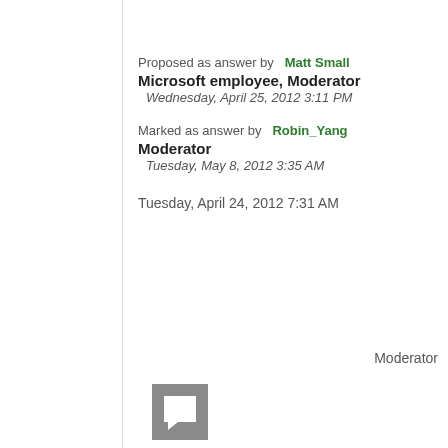Proposed as answer by   Matt Small Microsoft employee, Moderator Wednesday, April 25, 2012 3:11 PM
Marked as answer by   Robin_Yang Moderator Tuesday, May 8, 2012 3:35 AM
Tuesday, April 24, 2012 7:31 AM
Moderator
[Figure (illustration): Chat/comment icon (square with speech bubble triangle) in grey]
▲
0
Sign in to vote